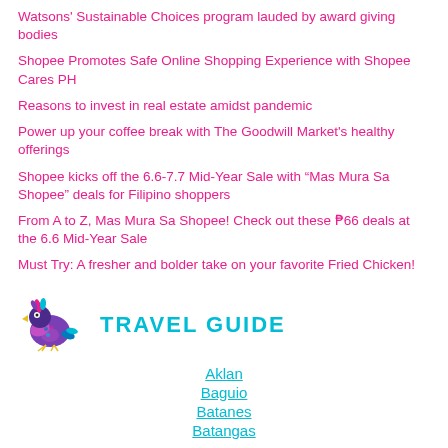Watsons' Sustainable Choices program lauded by award giving bodies
Shopee Promotes Safe Online Shopping Experience with Shopee Cares PH
Reasons to invest in real estate amidst pandemic
Power up your coffee break with The Goodwill Market's healthy offerings
Shopee kicks off the 6.6-7.7 Mid-Year Sale with “Mas Mura Sa Shopee” deals for Filipino shoppers
From A to Z, Mas Mura Sa Shopee! Check out these ₱66 deals at the 6.6 Mid-Year Sale
Must Try: A fresher and bolder take on your favorite Fried Chicken!
[Figure (illustration): Colorful decorative bird icon for Travel Guide section]
TRAVEL GUIDE
Aklan
Baguio
Batanes
Batangas